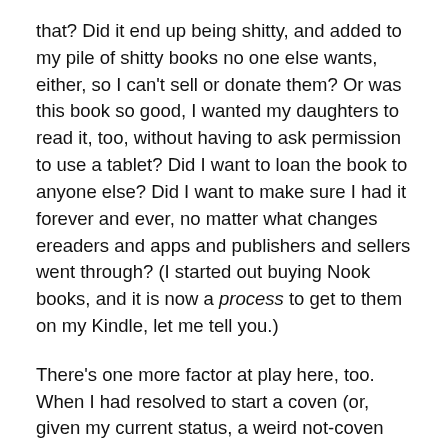that? Did it end up being shitty, and added to my pile of shitty books no one else wants, either, so I can't sell or donate them? Or was this book so good, I wanted my daughters to read it, too, without having to ask permission to use a tablet? Did I want to loan the book to anyone else? Did I want to make sure I had it forever and ever, no matter what changes ereaders and apps and publishers and sellers went through? (I started out buying Nook books, and it is now a process to get to them on my Kindle, let me tell you.)
There's one more factor at play here, too. When I had resolved to start a coven (or, given my current status, a weird not-coven maybe-study-group thing) and I started developing the Resources page here, I went to the libraries closest to me to evaluate the books they had on the shelf. Could I tell my future students to go get this or that title from the library? Or would I need to loan out my